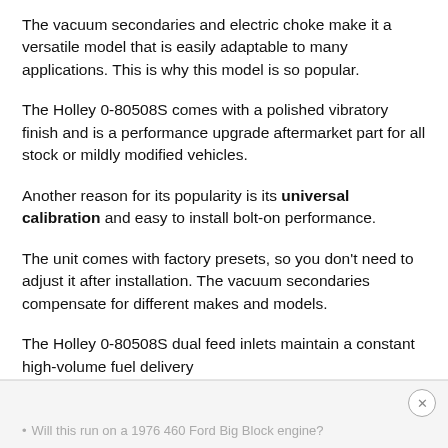The vacuum secondaries and electric choke make it a versatile model that is easily adaptable to many applications. This is why this model is so popular.
The Holley 0-80508S comes with a polished vibratory finish and is a performance upgrade aftermarket part for all stock or mildly modified vehicles.
Another reason for its popularity is its universal calibration and easy to install bolt-on performance.
The unit comes with factory presets, so you don't need to adjust it after installation. The vacuum secondaries compensate for different makes and models.
The Holley 0-80508S dual feed inlets maintain a constant high-volume fuel delivery
Q&A
Will this run on a 1976 460 Ford Big Block engine?